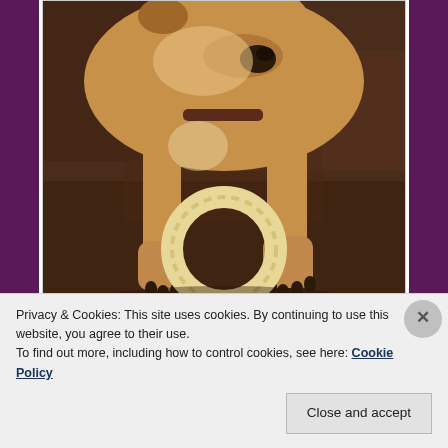[Figure (photo): A dog lying on a dark brown blanket/couch, holding a circular ring toy between its front paws. The dog appears to be a tan/golden-colored medium to large breed.]
And happy. (And after that, we took another walk with the friend of a friend staying with us this weekend. She has
Privacy & Cookies: This site uses cookies. By continuing to use this website, you agree to their use.
To find out more, including how to control cookies, see here: Cookie Policy
Close and accept